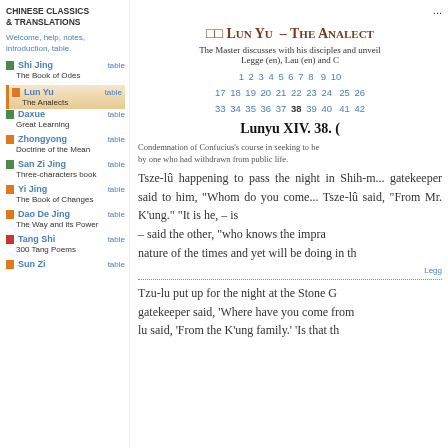...
Lun Yu – The Analects
The Master discusses with his disciples and unveils... Legge (en), Lau (en) and C...
Chapter navigation: 1 2 3 4 5 6 7 8 9 10 17 18 19 20 21 22 23 24 25 26 33 34 35 36 37 38 39 40 41 42
Lunyu XIV. 38.
Condemnation of Confucius's course in seeking to be... by one who had withdrawn from public life.
Tsze-lû happening to pass the night in Shih-m... gatekeeper said to him, "Whom do you come... Tsze-lû said, "From Mr. K'ung." "It is he, – is... – said the other, "who knows the impra... nature of the times and yet will be doing in th...
Tzu-lu put up for the night at the Stone G... gatekeeper said, 'Where have you come from... lu said, 'From the K'ung family.' 'Is that th...
Shi Jing – The Book of Odes
Lun Yu – The Analects
Daxue – Great Learning
Zhongyong – Doctrine of the Mean
San Zi Jing – Three-characters book
Yi Jing – The Book of Changes
Dao De Jing – The Way and its Power
Tang Shi – 300 Tang Poems
Sun Zi